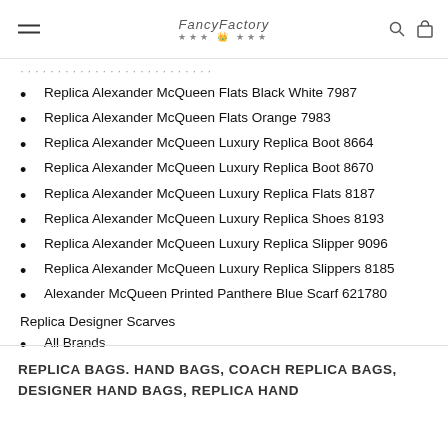FancyFactory
Replica Alexander McQueen Flats Black White 7987
Replica Alexander McQueen Flats Orange 7983
Replica Alexander McQueen Luxury Replica Boot 8664
Replica Alexander McQueen Luxury Replica Boot 8670
Replica Alexander McQueen Luxury Replica Flats 8187
Replica Alexander McQueen Luxury Replica Shoes 8193
Replica Alexander McQueen Luxury Replica Slipper 9096
Replica Alexander McQueen Luxury Replica Slippers 8185
Alexander McQueen Printed Panthere Blue Scarf 621780
Replica Designer Scarves
All Brands
REPLICA BAGS. HAND BAGS, COACH REPLICA BAGS, DESIGNER HAND BAGS, REPLICA HAND